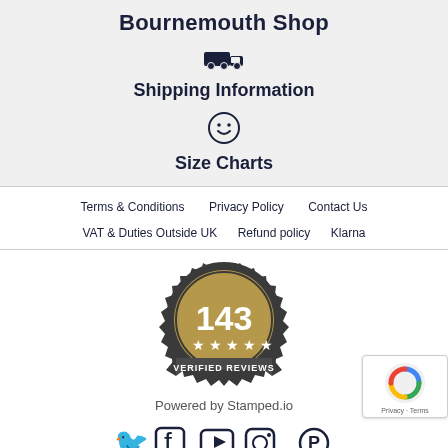Bournemouth Shop
[Figure (illustration): Truck/delivery icon]
Shipping Information
[Figure (illustration): Smiley face icon]
Size Charts
Terms & Conditions   Privacy Policy   Contact Us
VAT & Duties Outside UK   Refund policy   Klarna
[Figure (illustration): Stamped.io badge showing 143 verified reviews with 5 stars]
Powered by Stamped.io
[Figure (illustration): Social media icons: Twitter, Facebook, YouTube, Instagram, Pinterest]